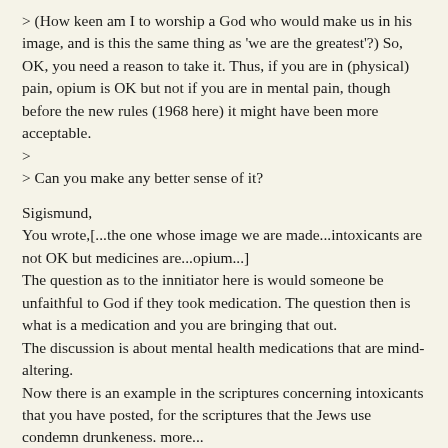> (How keen am I to worship a God who would make us in his image, and is this the same thing as 'we are the greatest'?) So, OK, you need a reason to take it. Thus, if you are in (physical) pain, opium is OK but not if you are in mental pain, though before the new rules (1968 here) it might have been more acceptable.
>
> Can you make any better sense of it?
Sigismund,
You wrote,[...the one whose image we are made...intoxicants are not OK but medicines are...opium...]
The question as to the innitiator here is would someone be unfaithful to God if they took medication. The question then is what is a medication and you are bringing that out.
The discussion is about mental health medications that are mind-altering.
Now there is an example in the scriptures concerning intoxicants that you have posted, for the scriptures that the Jews use condemn drunkeness. more...
Lou